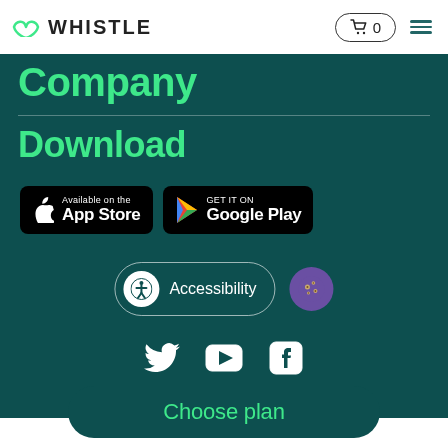WHISTLE — cart 0 — menu
Company
Download
[Figure (logo): Available on the App Store button (black rounded rectangle with Apple logo)]
[Figure (logo): Get it on Google Play button (black rounded rectangle with Google Play logo)]
[Figure (infographic): Accessibility button (rounded pill outline with person icon) and cookie consent icon (purple circle with cookie graphic)]
[Figure (infographic): Social media icons: Twitter bird, YouTube play button, Facebook F]
Choose plan